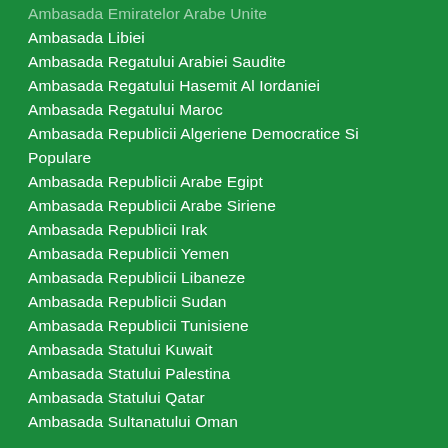Ambasada Emiratelor Arabe Unite
Ambasada Libiei
Ambasada Regatului Arabiei Saudite
Ambasada Regatului Hasemit Al Iordaniei
Ambasada Regatului Maroc
Ambasada Republicii Algeriene Democratice Si Populare
Ambasada Republicii Arabe Egipt
Ambasada Republicii Arabe Siriene
Ambasada Republicii Irak
Ambasada Republicii Yemen
Ambasada Republicii Libaneze
Ambasada Republicii Sudan
Ambasada Republicii Tunisiene
Ambasada Statului Kuwait
Ambasada Statului Palestina
Ambasada Statului Qatar
Ambasada Sultanatului Oman
INSTITUȚII
Palatul Cotroceni - Presedintele României